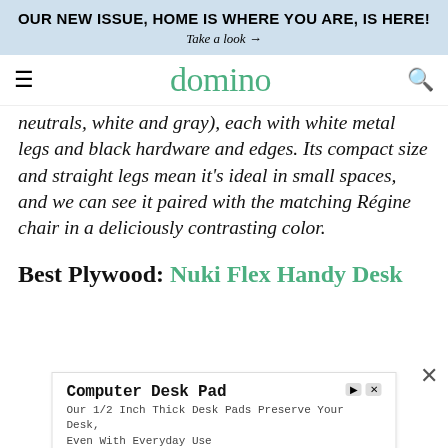OUR NEW ISSUE, HOME IS WHERE YOU ARE, IS HERE!
Take a look →
domino
neutrals, white and gray), each with white metal legs and black hardware and edges. Its compact size and straight legs mean it's ideal in small spaces, and we can see it paired with the matching Régine chair in a deliciously contrasting color.
Best Plywood: Nuki Flex Handy Desk
[Figure (screenshot): Advertisement for Computer Desk Pad from tablepads.com with 'Learn More' button]